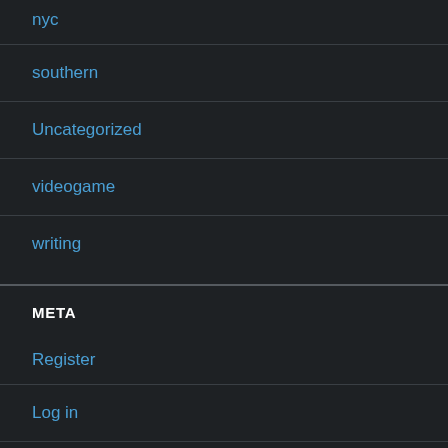nyc
southern
Uncategorized
videogame
writing
META
Register
Log in